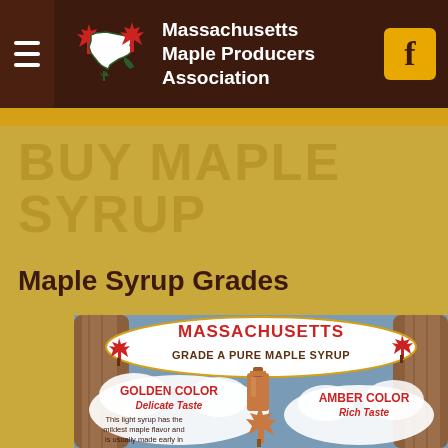Massachusetts Maple Producers Association
BUY MAPLE SYRUP
Maple Syrup Grades
[Figure (illustration): Massachusetts Grade A Pure Maple Syrup infographic showing Golden Color Delicate Taste and Amber Color Rich Taste grades with illustrative artwork of maple syrup bottle and maple leaves on a wooden sign backdrop]